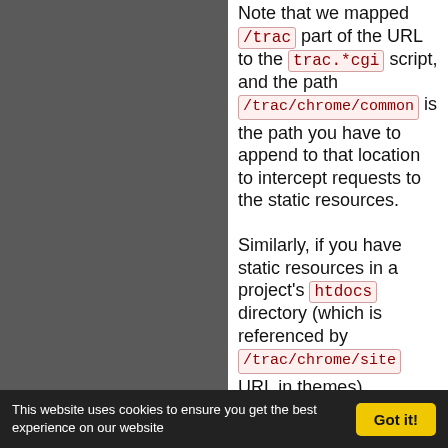Note that we mapped /trac part of the URL to the trac.*cgi script, and the path /trac/chrome/common is the path you have to append to that location to intercept requests to the static resources.

Similarly, if you have static resources in a project's htdocs directory (which is referenced by /trac/chrome/site URL in themes),
This website uses cookies to ensure you get the best experience on our website